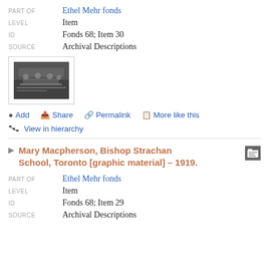PART OF: Ethel Mehr fonds
LEVEL: Item
ID: Fonds 68; Item 30
SOURCE: Archival Descriptions
[Figure (photo): Black and white thumbnail photograph showing people seated at tables in what appears to be a formal meeting or conference setting.]
Add  Share  Permalink  More like this
View in hierarchy
Mary Macpherson, Bishop Strachan School, Toronto [graphic material] – 1919.
PART OF: Ethel Mehr fonds
LEVEL: Item
ID: Fonds 68; Item 29
SOURCE: Archival Descriptions